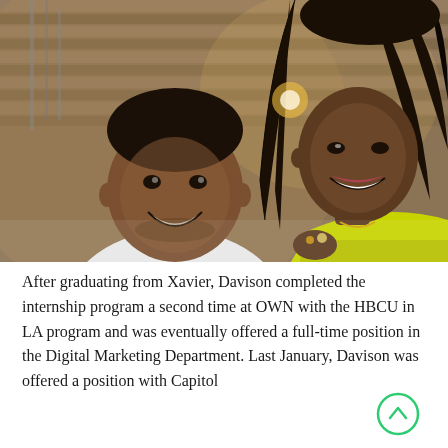[Figure (photo): Selfie photo of two people smiling: a young man in a white jacket on the left, and a woman in a yellow-green outfit with long dark hair on the right. Background shows a wooden-paneled room with lights.]
After graduating from Xavier, Davison completed the internship program a second time at OWN with the HBCU in LA program and was eventually offered a full-time position in the Digital Marketing Department. Last January, Davison was offered a position with Capitol